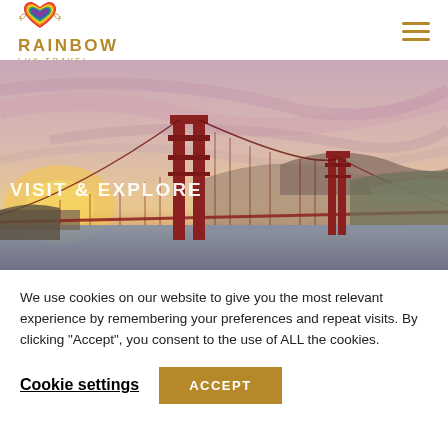[Figure (logo): Rainbow Lux Travel logo with rainbow heart icon and gold serif text]
[Figure (photo): Golden Gate Bridge at sunset with pink and purple sky, 'VISIT & EXPLORE' text overlay]
We use cookies on our website to give you the most relevant experience by remembering your preferences and repeat visits. By clicking “Accept”, you consent to the use of ALL the cookies.
Cookie settings
ACCEPT